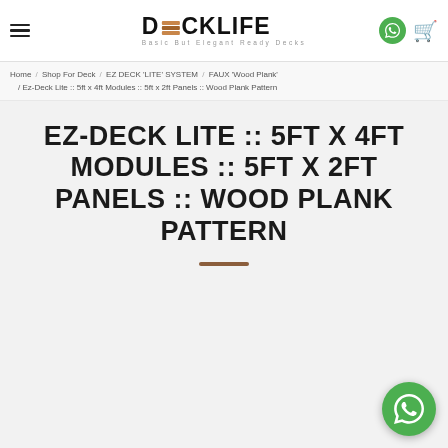DECKLIFE — Basic But Elegant Ready Decks
Home / Shop For Deck / EZ DECK 'LITE' SYSTEM / FAUX 'Wood Plank' / Ez-Deck Lite :: 5ft x 4ft Modules :: 5ft x 2ft Panels :: Wood Plank Pattern
EZ-DECK LITE :: 5FT X 4FT MODULES :: 5FT X 2FT PANELS :: WOOD PLANK PATTERN